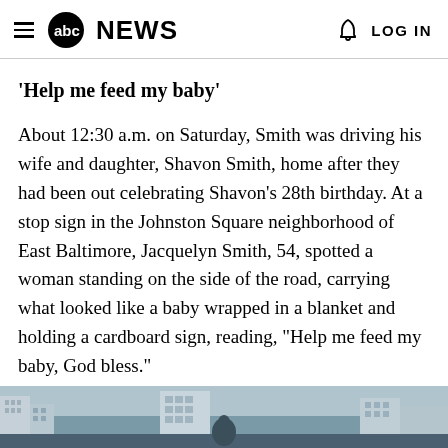abc NEWS   LOG IN
'Help me feed my baby'
About 12:30 a.m. on Saturday, Smith was driving his wife and daughter, Shavon Smith, home after they had been out celebrating Shavon's 28th birthday. At a stop sign in the Johnston Square neighborhood of East Baltimore, Jacquelyn Smith, 54, spotted a woman standing on the side of the road, carrying what looked like a baby wrapped in a blanket and holding a cardboard sign, reading, "Help me feed my baby, God bless."
[Figure (photo): Bottom strip showing a partial cityscape/buildings photo]